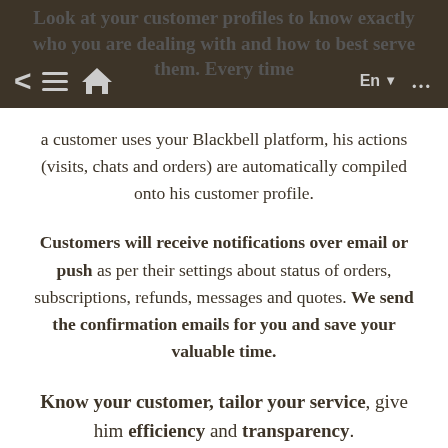Look at your customer profiles to know exactly who you are dealing with and how to best serve them. Every time a customer uses your Blackbell platform, his actions (visits, chats and orders) are automatically compiled onto his customer profile.
a customer uses your Blackbell platform, his actions (visits, chats and orders) are automatically compiled onto his customer profile.
Customers will receive notifications over email or push as per their settings about status of orders, subscriptions, refunds, messages and quotes. We send the confirmation emails for you and save your valuable time.
Know your customer, tailor your service, give him efficiency and transparency.